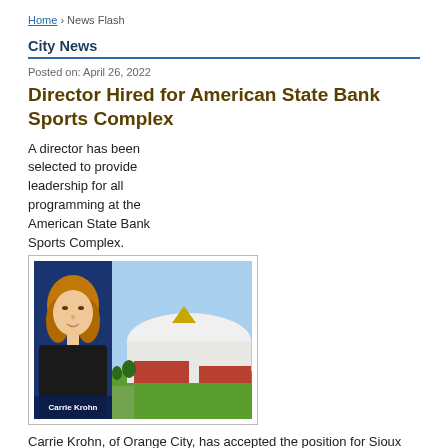Home › News Flash
City News
Posted on: April 26, 2022
Director Hired for American State Bank Sports Complex
A director has been selected to provide leadership for all programming at the American State Bank Sports Complex.
[Figure (photo): Composite image: headshot of Carrie Krohn on left against dark blue background, with architectural rendering of American State Bank Sports Complex indoor turf facility on right. Caption: Carrie Krohn]
Carrie Krohn, of Orange City, has accepted the position for Sioux Center's new indoor turf facility, which is under construction and scheduled to open in late 2022. Her role will involve setting and